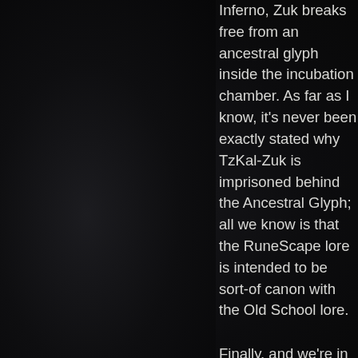[Figure (photo): Dark, nearly black background panel on the left side of the page, showing a dimly lit scene that appears to be from a video game environment (RuneScape), with very faint details visible in the darkness.]
Inferno, Zuk breaks free from an ancestral glyph inside the incubation chamber. As far as I know, it's never been exactly stated why TzKal-Zuk is imprisoned behind the Ancestral Glyph; all we know is that the RuneScape lore is intended to be sort-of canon with the Old School lore.

Finally, and we're in RS3 again, when Ful was in need of an army to reclaim the Elder